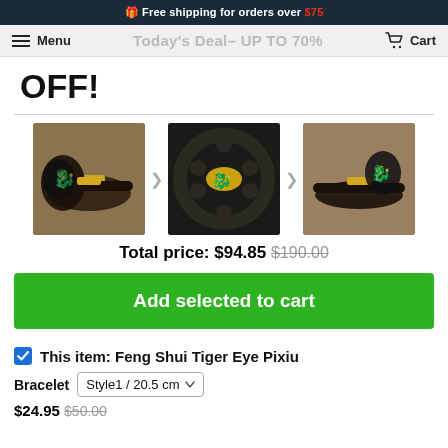🎁 Free shipping for orders over $75
Menu  Today's Deal– UP TO 70%  Cart
OFF!
[Figure (photo): Three bracelet product images in a row with navigation arrows between them]
Total price: $94.85  $190.00
Add selected to cart
✓ This item: Feng Shui Tiger Eye Pixiu
Bracelet  Style1 / 20.5 cm
$24.95  $50.00